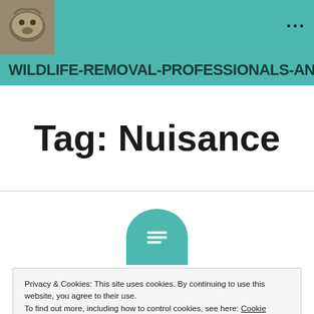WILDLIFE-REMOVAL-PROFESSIONALS-AN
Tag: Nuisance
[Figure (other): Teal circle icon with horizontal lines (menu/text lines icon)]
Privacy & Cookies: This site uses cookies. By continuing to use this website, you agree to their use.
To find out more, including how to control cookies, see here: Cookie Policy
Close and accept